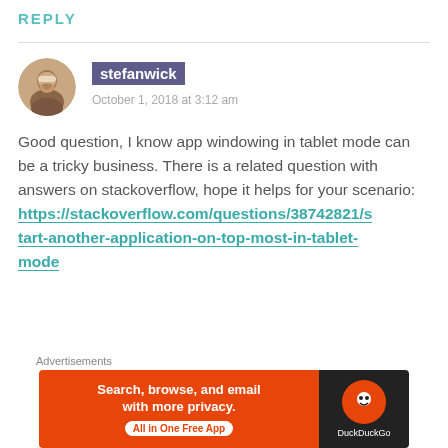REPLY
[Figure (photo): Circular avatar photo of a man with a beard]
stefanwick
October 1, 2018 at 3:12 am
Good question, I know app windowing in tablet mode can be a tricky business. There is a related question with answers on stackoverflow, hope it helps for your scenario:
https://stackoverflow.com/questions/38742821/start-another-application-on-top-most-in-tablet-mode
★ Like
[Figure (screenshot): DuckDuckGo advertisement banner: Search, browse, and email with more privacy. All in One Free App]